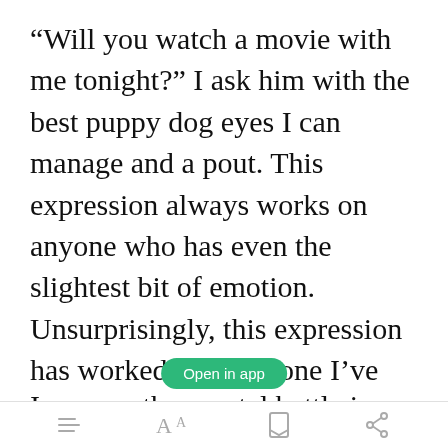“Will you watch a movie with me tonight?” I ask him with the best puppy dog eyes I can manage and a pout. This expression always works on anyone who has even the slightest bit of emotion. Unsurprisingly, this expression has worked on everyone I’ve ever met except for my heartless parents.
Open in app
I can see the mental battle in